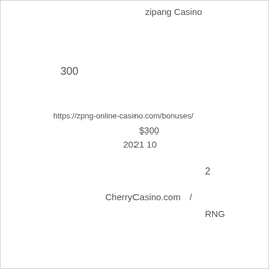zipang Casino
300
https://zpng-online-casino.com/bonuses/
$300
2021  10
2
CherryCasino.com　/
RNG